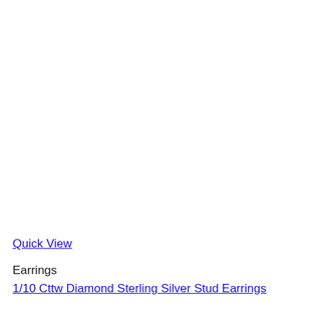Quick View
Earrings
1/10 Cttw Diamond Sterling Silver Stud Earrings